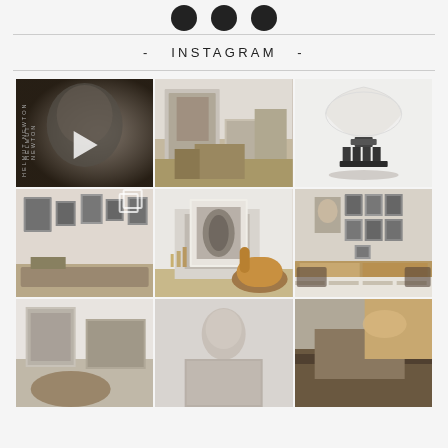- INSTAGRAM -
[Figure (photo): Instagram grid of 9 photos: black and white portrait of Helmut Newton with play button overlay, interior living room scene, modern table lamp, interior room with art on walls and copy icon, fireplace with abstract artwork and leather chair, room interior with gallery wall, partial interior images in bottom row]